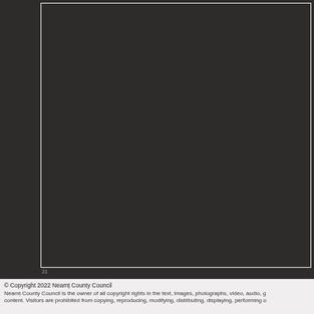[Figure (photo): Large dark bordered image area on a dark background, representing a photograph or content area that is mostly obscured/dark. A white rectangular border outlines the image region on the left-center of the dark background.]
© Copyright 2022 Neamț County Council
Neamț County Council is the owner of all copyright rights in the text, images, photographs, video, audio, g... content. Visitors are prohibited from copying, reproducing, modifying, distributing, displaying, performing o...